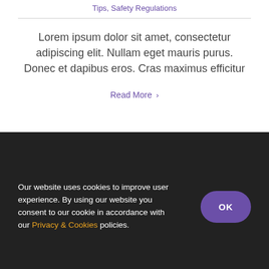Tips, Safety Regulations
Lorem ipsum dolor sit amet, consectetur adipiscing elit. Nullam eget mauris purus. Donec et dapibus eros. Cras maximus efficitur
Read More >
Our website uses cookies to improve user experience. By using our website you consent to our cookie in accordance with our Privacy & Cookies policies.